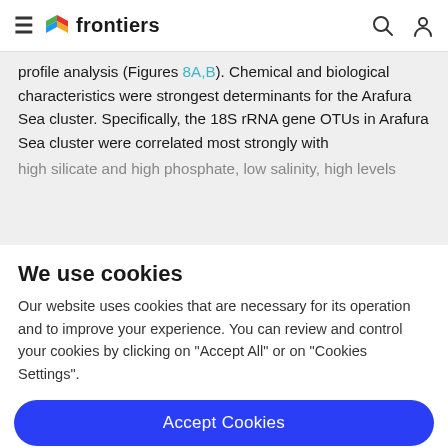frontiers
profile analysis (Figures 8A,B). Chemical and biological characteristics were strongest determinants for the Arafura Sea cluster. Specifically, the 18S rRNA gene OTUs in Arafura Sea cluster were correlated most strongly with high silicate and high phosphate, low salinity, high levels
We use cookies
Our website uses cookies that are necessary for its operation and to improve your experience. You can review and control your cookies by clicking on "Accept All" or on "Cookies Settings".
Accept Cookies
Cookies Settings